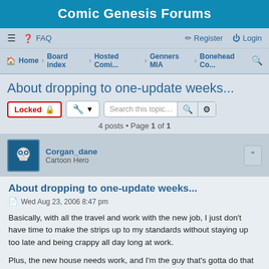Comic Genesis Forums
≡  FAQ    Register  Login
Home · Board index · Hosted Comi... · Genners MIA · Bonehead Co...
About dropping to one-update weeks...
Locked  [wrench] [dropdown]  Search this topic…  [search] [settings]
4 posts • Page 1 of 1
Corgan_dane
Cartoon Hero
About dropping to one-update weeks...
Wed Aug 23, 2006 8:47 pm
Basically, with all the travel and work with the new job, I just don't have time to make the strips up to my standards without staying up too late and being crappy all day long at work.
Plus, the new house needs work, and I'm the guy that's gotta do that work. It's weird having a lawn to take care of after living in apartments for the past 8 years.